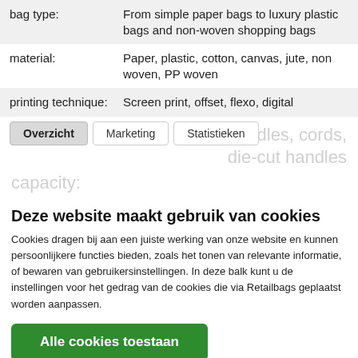| bag type: | From simple paper bags to luxury plastic bags and non-woven shopping bags |
| material: | Paper, plastic, cotton, canvas, jute, non woven, PP woven |
| printing technique: | Screen print, offset, flexo, digital |
Overzicht
Marketing
Statistieken
Deze website maakt gebruik van cookies
Cookies dragen bij aan een juiste werking van onze website en kunnen persoonlijkere functies bieden, zoals het tonen van relevante informatie, of bewaren van gebruikersinstellingen. In deze balk kunt u de instellingen voor het gedrag van de cookies die via Retailbags geplaatst worden aanpassen.
Alle cookies toestaan